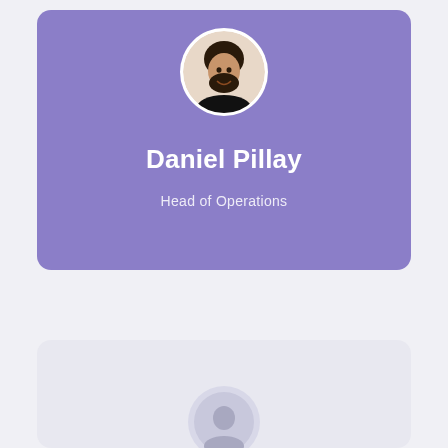[Figure (photo): Profile card for Daniel Pillay with a circular photo avatar, purple background, name and job title]
Daniel Pillay
Head of Operations
[Figure (photo): Partial profile card at bottom of page with light lavender background and partially visible circular avatar]